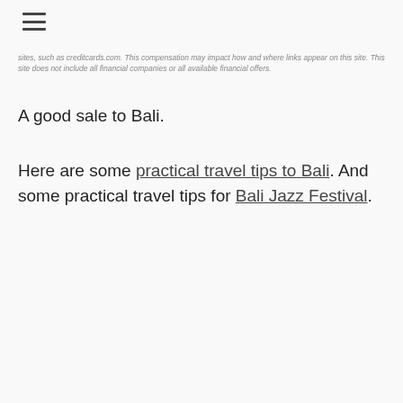☰
sites, such as creditcards.com. This compensation may impact how and where links appear on this site. This site does not include all financial companies or all available financial offers.
A good sale to Bali.
Here are some practical travel tips to Bali. And some practical travel tips for Bali Jazz Festival.